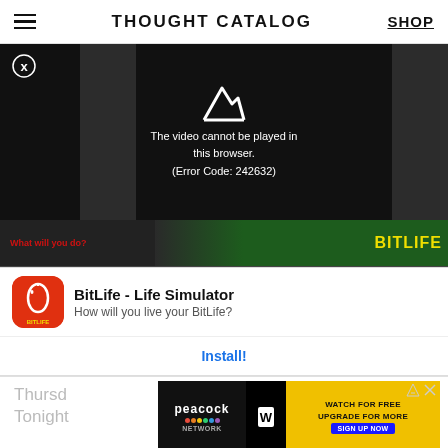THOUGHT CATALOG  SHOP
[Figure (screenshot): Video player showing error: 'The video cannot be played in this browser. (Error Code: 242632)' with close button and dark side panels]
[Figure (screenshot): BitLife app advertisement banner showing app icon, title 'BitLife - Life Simulator', subtitle 'How will you live your BitLife?' and Install button]
Thursd
Tonigh
[Figure (screenshot): Peacock WWE advertisement: 'WATCH FOR FREE UPGRADE FOR MORE SIGN UP NOW']